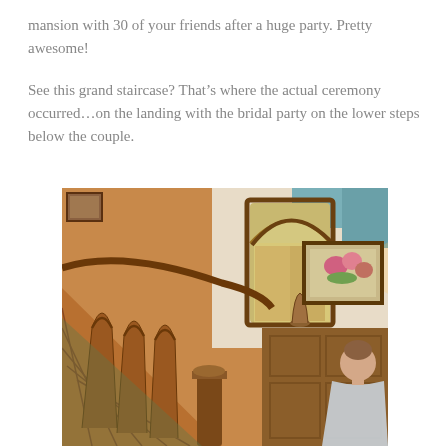mansion with 30 of your friends after a huge party.  Pretty awesome!
See this grand staircase?  That's where the actual ceremony occurred...on the landing with the bridal party on the lower steps below the couple.
[Figure (photo): Interior photograph of a grand wooden staircase in a mansion, showing ornate carved banister with arched details, a tall arched window with stained glass, a wall sconce light, wood-paneled walls, a framed floral painting on the right wall, and a woman in the lower right corner]